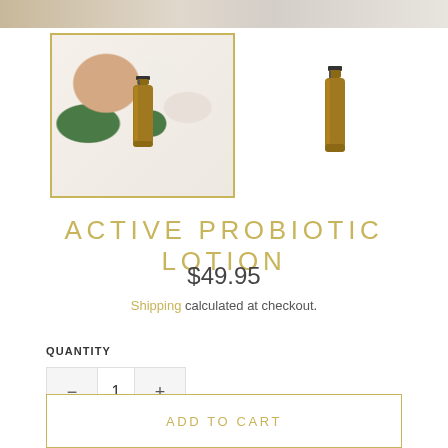[Figure (photo): Top strip showing cropped product lifestyle image with beige/cream tones]
[Figure (photo): Main product thumbnail with gold border showing amber bottle with spray pump surrounded by green leaves, peach sponge, and white flowers on light background]
[Figure (photo): Secondary thumbnail showing amber glass spray bottle product alone on white background]
ACTIVE PROBIOTIC LOTION
$49.95
Shipping calculated at checkout.
QUANTITY
1
ADD TO CART